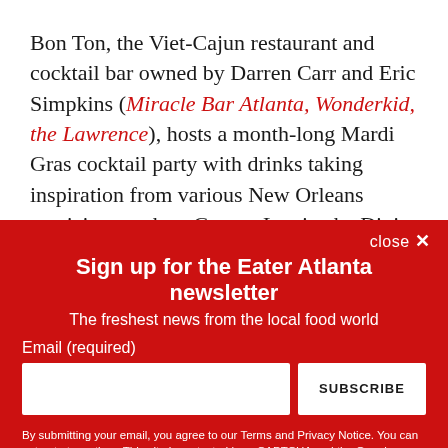Bon Ton, the Viet-Cajun restaurant and cocktail bar owned by Darren Carr and Eric Simpkins (Miracle Bar Atlanta, Wonderkid, the Lawrence), hosts a month-long Mardi Gras cocktail party with drinks taking inspiration from various New Orleans musicians such as George Lewis, the Dixie Cups, and Rebirth Brass Band. The Mardi Gras cocktail
close ✕
Sign up for the Eater Atlanta newsletter
The freshest news from the local food world
Email (required)
SUBSCRIBE
By submitting your email, you agree to our Terms and Privacy Notice. You can opt out at any time. This site is protected by reCAPTCHA and the Google Privacy Policy and Terms of Service apply.